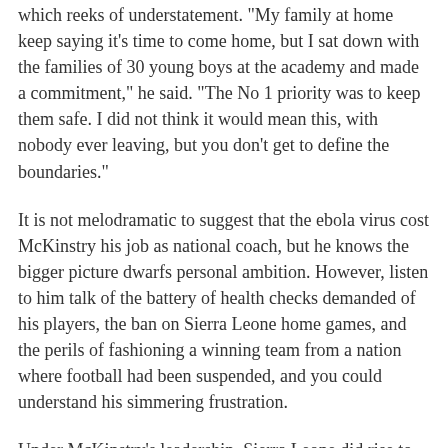which reeks of understatement. "My family at home keep saying it's time to come home, but I sat down with the families of 30 young boys at the academy and made a commitment," he said. "The No 1 priority was to keep them safe. I did not think it would mean this, with nobody ever leaving, but you don't get to define the boundaries."
It is not melodramatic to suggest that the ebola virus cost McKinstry his job as national coach, but he knows the bigger picture dwarfs personal ambition. However, listen to him talk of the battery of health checks demanded of his players, the ban on Sierra Leone home games, and the perils of fashioning a winning team from a nation where football had been suspended, and you could understand his simmering frustration.
Under McKinstry's leadership, Sierra Leone did rise to the top 50 in Fifa's world rankings for the